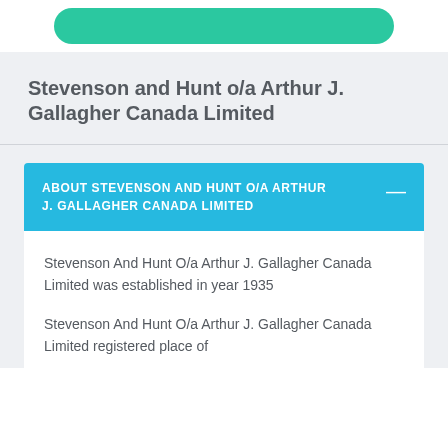[Figure (other): Teal/green rounded button or banner at the top of the page]
Stevenson and Hunt o/a Arthur J. Gallagher Canada Limited
ABOUT STEVENSON AND HUNT O/A ARTHUR J. GALLAGHER CANADA LIMITED
Stevenson And Hunt O/a Arthur J. Gallagher Canada Limited was established in year 1935
Stevenson And Hunt O/a Arthur J. Gallagher Canada Limited registered place of